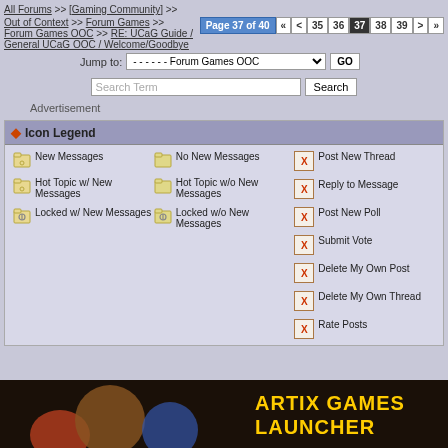All Forums >> [Gaming Community] >>
Out of Context >> Forum Games >> Forum Games OOC >> RE: UCaG Guide / General UCaG OOC / Welcome/Goodbye
Page 37 of 40 « < 35 36 37 38 39 > »
Jump to: - - - - - - Forum Games OOC GO
Search Term  Search
Advertisement
◆ Icon Legend
New Messages
No New Messages
Post New Thread
Reply to Message
Post New Poll
Submit Vote
Delete My Own Post
Hot Topic w/ New Messages
Hot Topic w/o New Messages
Delete My Own Thread
Locked w/ New Messages
Locked w/o New Messages
Rate Posts
[Figure (illustration): Artix Games Launcher banner with game characters]